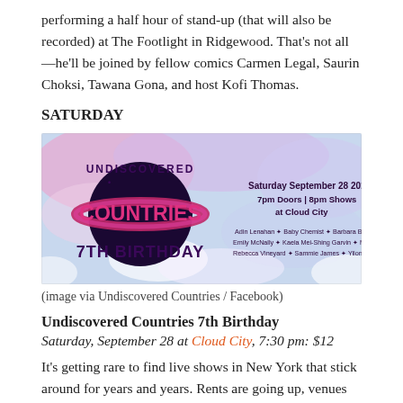performing a half hour of stand-up (that will also be recorded) at The Footlight in Ridgewood. That's not all—he'll be joined by fellow comics Carmen Legal, Saurin Choksi, Tawana Gona, and host Kofi Thomas.
SATURDAY
[Figure (illustration): Promotional image for Undiscovered Countries 7th Birthday show. Saturday September 28 2019, 7pm Doors | 8pm Shows at Cloud City. Performers: Adin Lenahan, Baby Chemist, Barbara Bagley, Emily McNally, Kaela Mei-Shing Garvin, Magenta, Rebeca Vineyard, Sammie James, Yilong Liu. Purple planet with pink ring against cloudy sky background.]
(image via Undiscovered Countries / Facebook)
Undiscovered Countries 7th Birthday
Saturday, September 28 at Cloud City, 7:30 pm: $12
It's getting rare to find live shows in New York that stick around for years and years. Rents are going up, venues are closing left